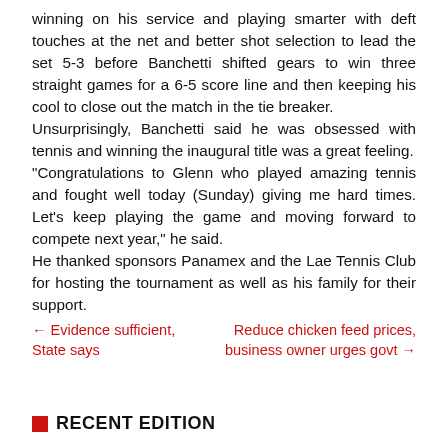winning on his service and playing smarter with deft touches at the net and better shot selection to lead the set 5-3 before Banchetti shifted gears to win three straight games for a 6-5 score line and then keeping his cool to close out the match in the tie breaker. Unsurprisingly, Banchetti said he was obsessed with tennis and winning the inaugural title was a great feeling. "Congratulations to Glenn who played amazing tennis and fought well today (Sunday) giving me hard times. Let's keep playing the game and moving forward to compete next year," he said. He thanked sponsors Panamex and the Lae Tennis Club for hosting the tournament as well as his family for their support.
← Evidence sufficient, State says
Reduce chicken feed prices, business owner urges govt →
RECENT EDITION